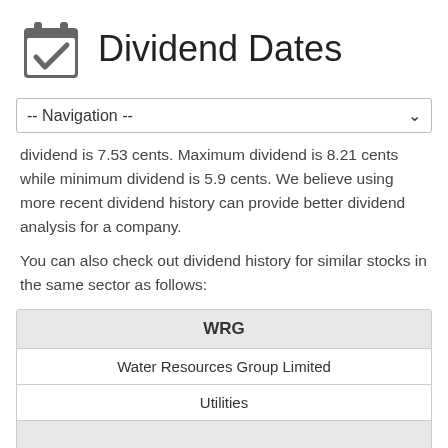Dividend Dates
-- Navigation --
dividend is 7.53 cents. Maximum dividend is 8.21 cents while minimum dividend is 5.9 cents. We believe using more recent dividend history can provide better dividend analysis for a company.
You can also check out dividend history for similar stocks in the same sector as follows:
| WRG |
| Water Resources Group Limited |
| Utilities |
|  |